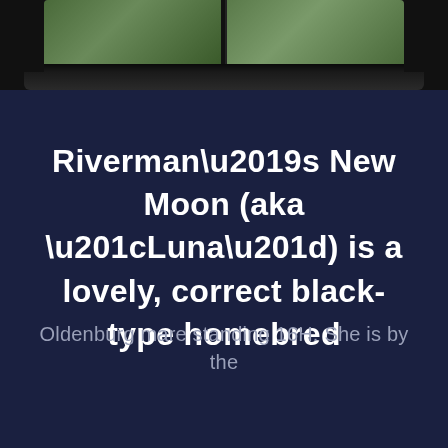[Figure (screenshot): Partial view of a laptop screen showing images of horses or outdoor scenes, with a dark laptop bezel and base visible at the top of the page.]
Riverman’s New Moon (aka “Luna”) is a lovely, correct black-type homebred
Oldenburg mare standing 16H. She is by the